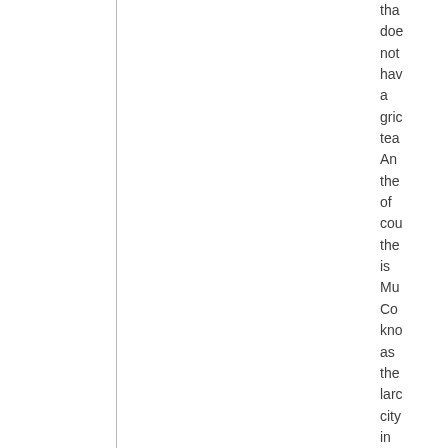that does not have a grid team. And the of course the is Mu Co known as the large city in the cou with a